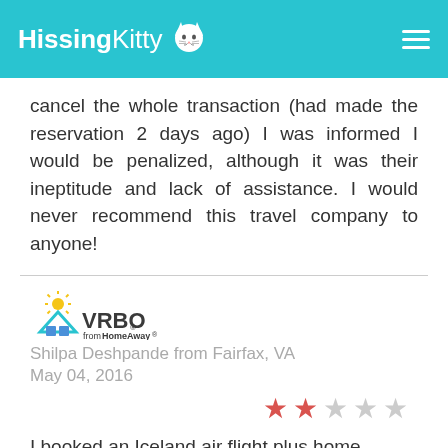HissingKitty
cancel the whole transaction (had made the reservation 2 days ago) I was informed I would be penalized, although it was their ineptitude and lack of assistance. I would never recommend this travel company to anyone!
[Figure (logo): VRBO from HomeAway logo]
Shilpa Deshpande from Fairfax, VA
May 04, 2016
[Figure (other): 2 out of 5 stars rating]
I booked an Iceland air flight plus home